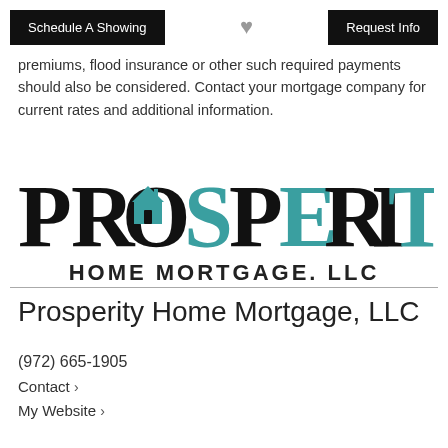Schedule A Showing | [heart] | Request Info
premiums, flood insurance or other such required payments should also be considered. Contact your mortgage company for current rates and additional information.
[Figure (logo): Prosperity Home Mortgage, LLC logo with teal house icon inside the letter O of PROSPERITY, and 'HOME MORTGAGE. LLC' below in dark bold text]
Prosperity Home Mortgage, LLC
(972) 665-1905
Contact ›
My Website ›